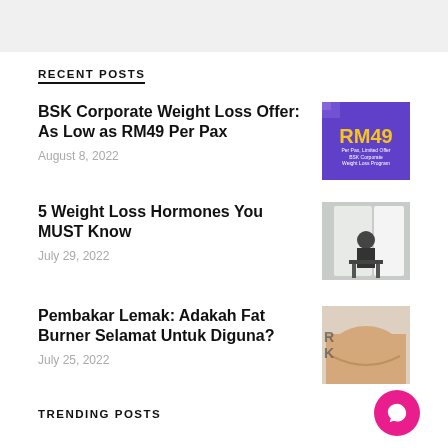[Figure (other): Top banner/advertisement area, light gray background]
RECENT POSTS
BSK Corporate Weight Loss Offer: As Low as RM49 Per Pax
August 8, 2022
[Figure (other): Thumbnail image with purple background showing RM49 Per Pax Limited Offer BSK Corporate Weight Loss Program]
5 Weight Loss Hormones You MUST Know
July 29, 2022
[Figure (photo): Photo of person sitting on a chair by a window]
Pembakar Lemak: Adakah Fat Burner Selamat Untuk Diguna?
July 25, 2022
[Figure (photo): Photo showing overweight person's torso/stomach area]
TRENDING POSTS